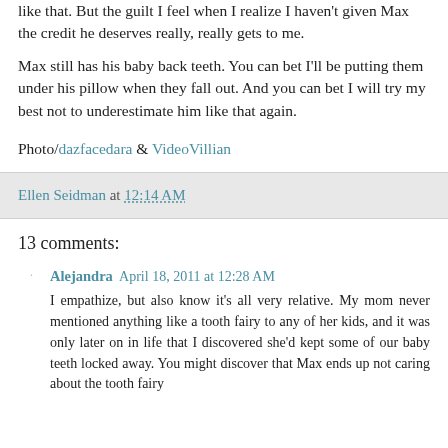like that. But the guilt I feel when I realize I haven't given Max the credit he deserves really, really gets to me.
Max still has his baby back teeth. You can bet I'll be putting them under his pillow when they fall out. And you can bet I will try my best not to underestimate him like that again.
Photo/dazfacedara & VideoVillian
Ellen Seidman at 12:14 AM
13 comments:
Alejandra  April 18, 2011 at 12:28 AM
I empathize, but also know it's all very relative. My mom never mentioned anything like a tooth fairy to any of her kids, and it was only later on in life that I discovered she'd kept some of our baby teeth locked away. You might discover that Max ends up not caring about the tooth fairy